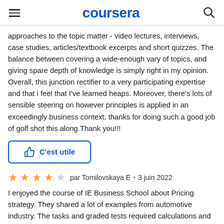coursera
approaches to the topic matter - video lectures, interviews, case studies, articles/textbook excerpts and short quizzes. The balance between covering a wide-enough vary of topics, and giving spare depth of knowledge is simply right in my opinion. Overall, this junction rectifier to a very participating expertise and that i feel that I've learned heaps. Moreover, there's lots of sensible steering on however principles is applied in an exceedingly business context. thanks for doing such a good job of golf shot this along.Thank you!!!
C'est utile
par Tomilovskaya E • 3 juin 2022
I enjoyed the course of IE Business School about Pricing strategy. They shared a lot of examples from automotive industry. The tasks and graded tests required calculations and were not so easy to pass. Besides, the last 2 weeks were